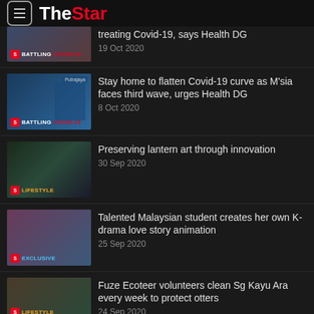The Star
treating Covid-19, says Health DG
19 Oct 2020
Stay home to flatten Covid-19 curve as M'sia faces third wave, urges Health DG
8 Oct 2020
Preserving lantern art through innovation
30 Sep 2020
Talented Malaysian student creates her own K-drama love story animation
25 Sep 2020
Fuze Ecoteer volunteers clean Sg Kayu Ara every week to protect otters
24 Sep 2020